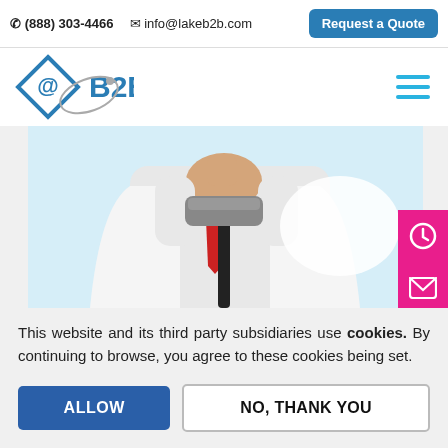☎(888) 303-4466   ✉ info@lakeb2b.com   Request a Quote
[Figure (logo): LakeB2B logo with blue diamond @B2B mark and grey orbital arc]
[Figure (illustration): Partial illustration of a person in white coat holding a hammer, with light blue background. Pink side buttons with clock and envelope icons visible on right.]
This website and its third party subsidiaries use cookies. By continuing to browse, you agree to these cookies being set.
ALLOW
NO, THANK YOU